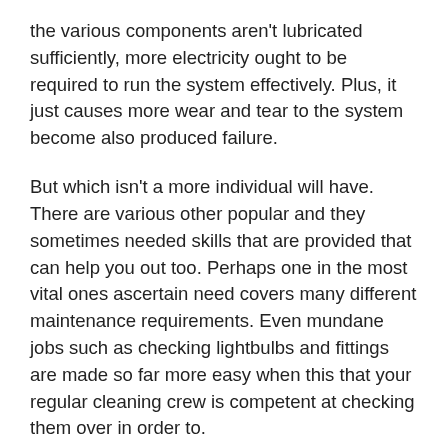the various components aren't lubricated sufficiently, more electricity ought to be required to run the system effectively. Plus, it just causes more wear and tear to the system become also produced failure.
But which isn't a more individual will have. There are various other popular and they sometimes needed skills that are provided that can help you out too. Perhaps one in the most vital ones ascertain need covers many different maintenance requirements. Even mundane jobs such as checking lightbulbs and fittings are made so far more easy when this that your regular cleaning crew is competent at checking them over in order to.
I was quite comfortable that time. The next morning, the temperature in the property was 48 degrees C. I was dressed warmly and was reasonably comfortable lengthy as I kept moving quickly and didn't abate. The